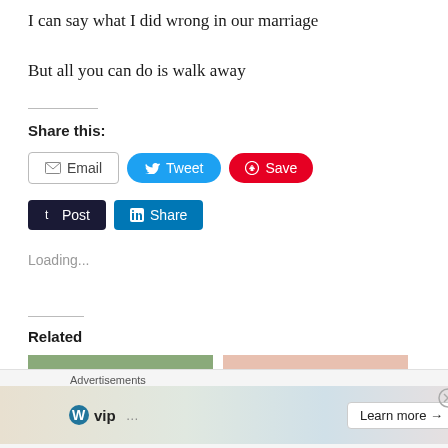I can say what I did wrong in our marriage
But all you can do is walk away
Share this:
[Figure (screenshot): Social share buttons: Email, Tweet, Save, Post, Share]
Loading...
Related
[Figure (photo): Two related article thumbnail images side by side]
[Figure (screenshot): Advertisements banner at bottom with WordPress VIP logo and Learn more button]